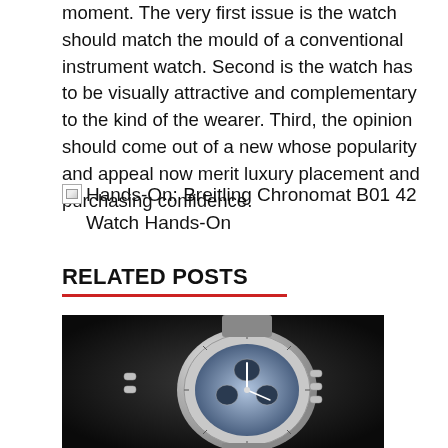moment. The very first issue is the watch should match the mould of a conventional instrument watch. Second is the watch has to be visually attractive and complementary to the kind of the wearer. Third, the opinion should come out of a new whose popularity and appeal now merit luxury placement and purchasing confidence.
[Figure (photo): Broken image placeholder with alt text: Hands-On: Breitling Chronomat B01 42 Watch Hands-On]
RELATED POSTS
TAGGED BREITLING
[Figure (photo): Black and white close-up photograph of a Breitling chronograph watch showing the bezel, crown pushers, and dial]